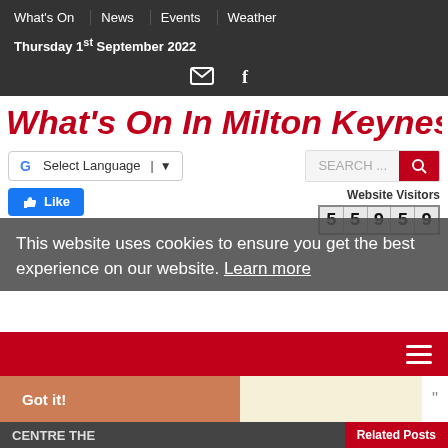What's On | News | Events | Weather
Thursday 1st September 2022
What's On In Milton Keynes
Select Language
SEARCH ...
Like
Website Visitors 55959
This website uses cookies to ensure you get the best experience on our website. Learn more
Got it!
Milton Keynes News & Events
CENTRE THE
Related Posts